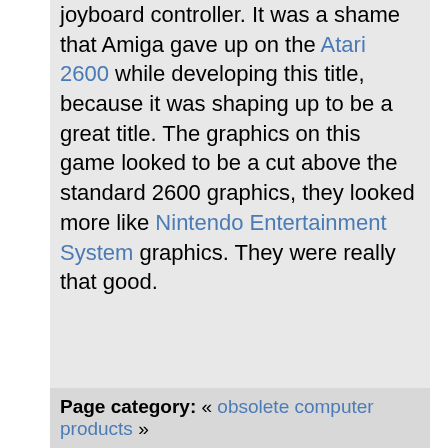joyboard controller. It was a shame that Amiga gave up on the Atari 2600 while developing this title, because it was shaping up to be a great title. The graphics on this game looked to be a cut above the standard 2600 graphics, they looked more like Nintendo Entertainment System graphics. They were really that good.
Page category: « obsolete computer products »